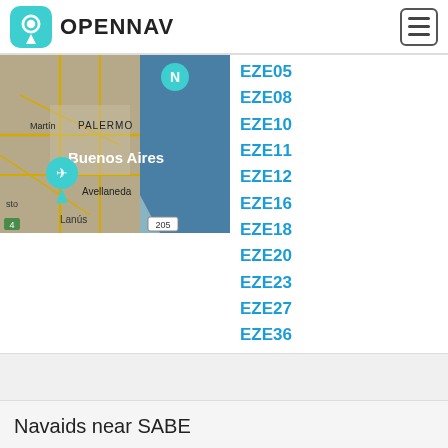OPENNAV
[Figure (map): Satellite map showing Buenos Aires area including Palermo, Avellaneda, Lanús, San Martín with airport pin marker]
EZE05
EZE08
EZE10
EZE11
EZE12
EZE16
EZE18
EZE20
EZE23
EZE27
EZE36
Navaids near SABE
[Figure (map): Satellite map showing SABE airport area near Buenos Aires with water and vegetation]
A
C
ENO
EZE